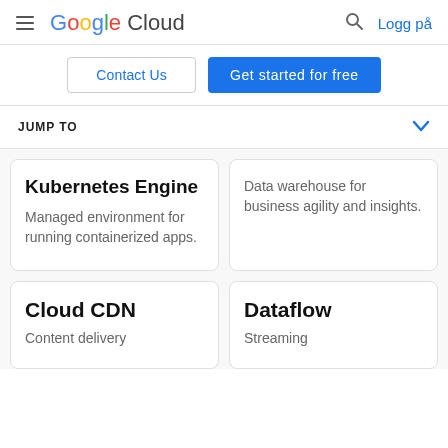Google Cloud  Logg på
Contact Us  Get started for free
JUMP TO
Kubernetes Engine
Managed environment for running containerized apps.
Data warehouse for business agility and insights.
Cloud CDN
Content delivery
Dataflow
Streaming